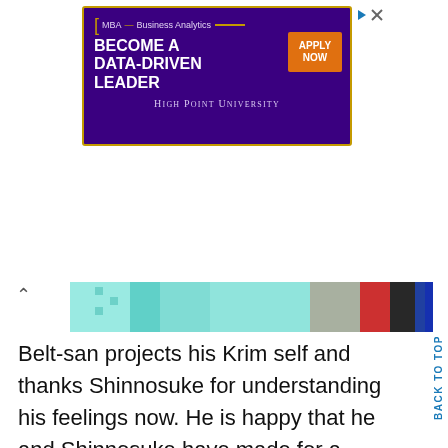[Figure (other): Advertisement banner for High Point University MBA – Business Analytics program. Purple background with orange/gold border. Text reads: MBA – Business Analytics / BECOME A DATA-DRIVEN LEADER with an orange APPLY NOW button. High Point University logo text at bottom.]
[Figure (photo): Horizontal image strip showing colorful fabric or clothing items in teal, turquoise, red, black, and blue tones, partially visible.]
Belt-san projects his Krim self and thanks Shinnosuke for understanding his feelings now. He is happy that he and Shinnosuke have made for a formidable combi this whole time. Shinnosuke agrees they're quite a pair. But Krim says not as